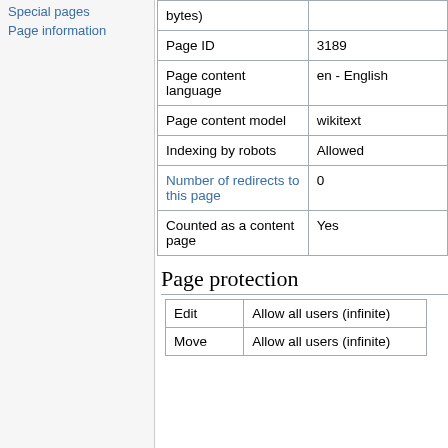Special pages
Page information
| bytes) | (previous) |
| Page ID | 3189 |
| Page content language | en - English |
| Page content model | wikitext |
| Indexing by robots | Allowed |
| Number of redirects to this page | 0 |
| Counted as a content page | Yes |
Page protection
| Edit | Allow all users (infinite) |
| --- | --- |
| Edit | Allow all users (infinite) |
| Move | Allow all users (infinite) |